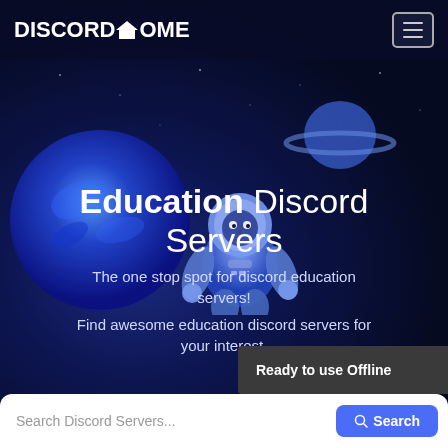DISCORD Home
[Figure (illustration): Space scene with astronaut character, glowing blue planet on the left, and a ringed planet (Saturn-like) in the upper right, on a dark navy background.]
Education Discord Servers
The one stop spot for discord education servers!
Find awesome education discord servers for your interest.
Ready to use Offline
Search Discord Servers...
Search